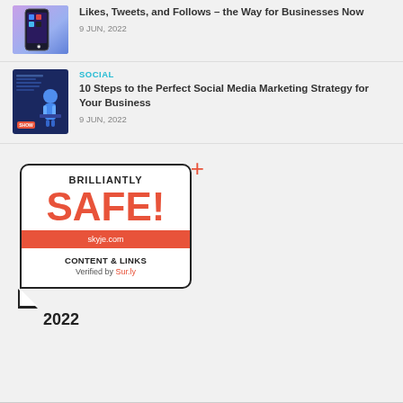[Figure (photo): Smartphone with social media app icons on purple gradient background]
Likes, Tweets, and Follows – the Way for Businesses Now
9 JUN, 2022
[Figure (photo): 3D character presenting social media marketing strategy on dark blue background]
SOCIAL
10 Steps to the Perfect Social Media Marketing Strategy for Your Business
9 JUN, 2022
[Figure (infographic): Brilliantly SAFE! badge for skyje.com - Content & Links verified by Sur.ly, 2022]